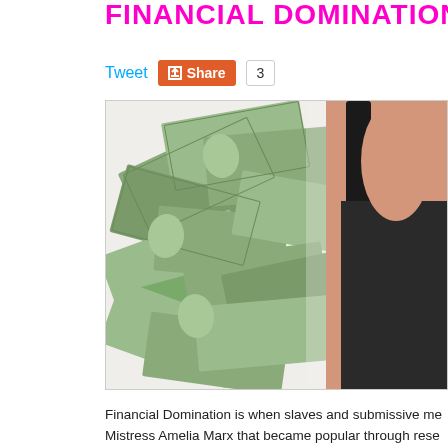FINANCIAL DOMINATION:
Tweet
Share  3
[Figure (photo): A person kneeling over a large pile of scattered $100 bills on a white background, wearing a black outfit, photographed from the side/back.]
Financial Domination is when slaves and submissive me... Mistress Amelia Marx that became popular through rese... fetish is brought on by the need to be controlled in any a... Professional Dominatrix has in her dominion said fe...